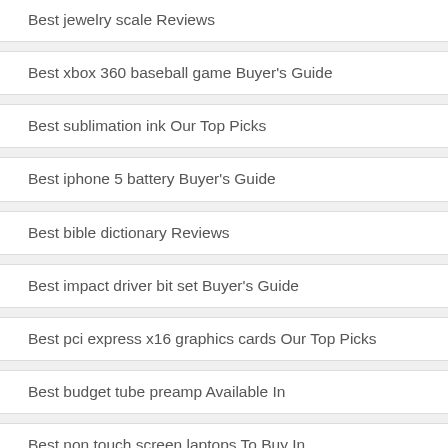Best jewelry scale Reviews
Best xbox 360 baseball game Buyer's Guide
Best sublimation ink Our Top Picks
Best iphone 5 battery Buyer's Guide
Best bible dictionary Reviews
Best impact driver bit set Buyer's Guide
Best pci express x16 graphics cards Our Top Picks
Best budget tube preamp Available In
Best non touch screen laptops To Buy In
Best usb media player Reviews